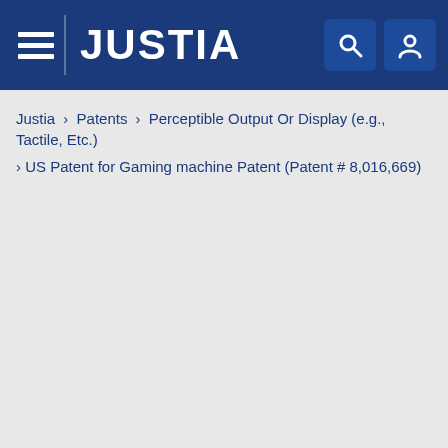JUSTIA
Justia › Patents › Perceptible Output Or Display (e.g., Tactile, Etc.) › US Patent for Gaming machine Patent (Patent # 8,016,669)